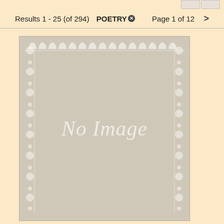Results 1 - 25 (of 294)  POETRY  Page 1 of 12  >
[Figure (illustration): Book cover placeholder showing 'No Image' text in italic script on a light tan/beige background with decorative ornamental border]